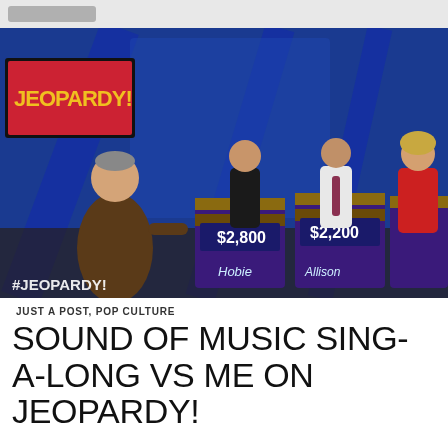[Figure (photo): Screenshot from Jeopardy! TV show. Host Alex Trebek stands on the left in a brown suit, facing three contestants at their podiums. Left podium shows $2,800 and name 'Hobie', center podium shows $2,200 and name 'Allison'. Contestant in black, contestant in white shirt and dark tie, contestant in red top. The Jeopardy! logo is visible on a screen top-left. '#JEOPARDY!' hashtag watermark on lower left. Blue stage background.]
JUST A POST, POP CULTURE
SOUND OF MUSIC SING-A-LONG VS ME ON JEOPARDY!